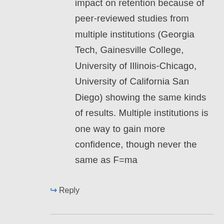impact on retention because of peer-reviewed studies from multiple institutions (Georgia Tech, Gainesville College, University of Illinois-Chicago, University of California San Diego) showing the same kinds of results. Multiple institutions is one way to gain more confidence, though never the same as F=ma
↳ Reply